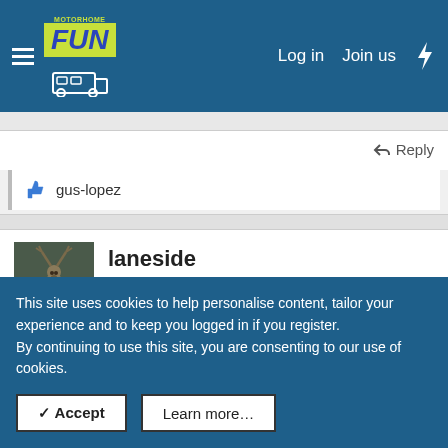Motorhome Fun — Log in  Join us
Reply
gus-lopez
laneside
Funster  Deceased RIP
Jan 6, 2015   Thread Starter   #10
This site uses cookies to help personalise content, tailor your experience and to keep you logged in if you register.
By continuing to use this site, you are consenting to our use of cookies.
✓ Accept    Learn more…